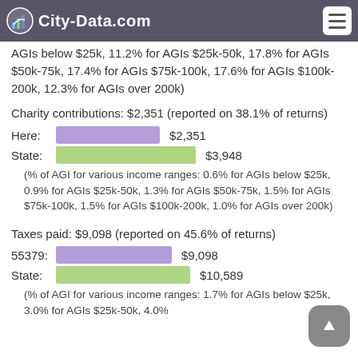City-Data.com
AGIs below $25k, 11.2% for AGIs $25k-50k, 17.8% for AGIs $50k-75k, 17.4% for AGIs $75k-100k, 17.6% for AGIs $100k-200k, 12.3% for AGIs over 200k)
Charity contributions: $2,351 (reported on 38.1% of returns)
[Figure (bar-chart): Charity contributions comparison]
(% of AGI for various income ranges: 0.6% for AGIs below $25k, 0.9% for AGIs $25k-50k, 1.3% for AGIs $50k-75k, 1.5% for AGIs $75k-100k, 1.5% for AGIs $100k-200k, 1.0% for AGIs over 200k)
Taxes paid: $9,098 (reported on 45.6% of returns)
[Figure (bar-chart): Taxes paid comparison]
(% of AGI for various income ranges: 1.7% for AGIs below $25k, 3.0% for AGIs $25k-50k, 4.0% for ...